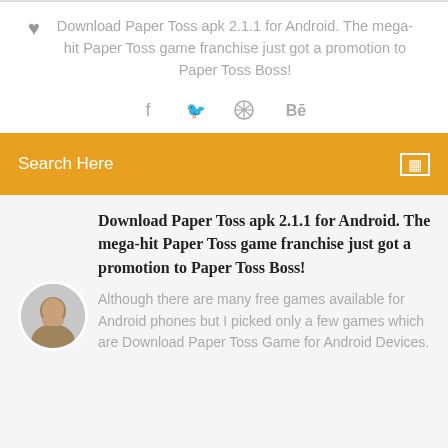Download Paper Toss apk 2.1.1 for Android. The mega-hit Paper Toss game franchise just got a promotion to Paper Toss Boss!
[Figure (infographic): Social media share icons: Facebook (f), Twitter (bird), a circular icon, and Behance (Be)]
Search Here
Download Paper Toss apk 2.1.1 for Android. The mega-hit Paper Toss game franchise just got a promotion to Paper Toss Boss!
[Figure (photo): Circular avatar photo of a man]
Although there are many free games available for Android phones but I picked only a few games which are Download Paper Toss Game for Android Devices.